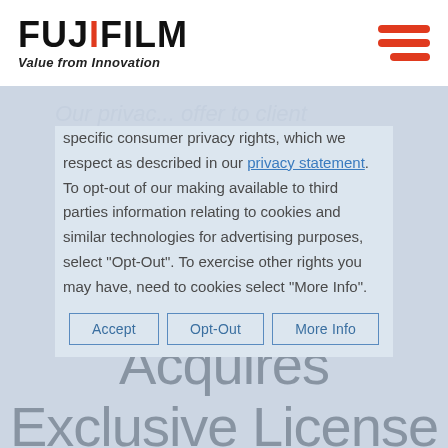[Figure (logo): FUJIFILM logo with red accent mark on the letter I, and tagline 'Value from Innovation' in bold italic below]
[Figure (other): Hamburger menu icon with three orange horizontal bars on the right side of the header]
specific consumer privacy rights, which we respect as described in our privacy statement. To opt-out of our making available to third parties information relating to cookies and similar technologies for advertising purposes, select "Opt-Out". To exercise other rights you may have, need to cookies select "More Info".
FUJIFILM Irvine Scientific Acquires Exclusive License for Artificial Intelligence for IVF
Accept | Opt-Out | More Info (cookie consent buttons)